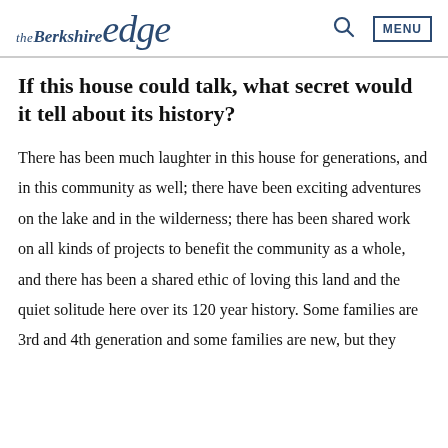the Berkshire edge
If this house could talk, what secret would it tell about its history?
There has been much laughter in this house for generations, and in this community as well; there have been exciting adventures on the lake and in the wilderness; there has been shared work on all kinds of projects to benefit the community as a whole, and there has been a shared ethic of loving this land and the quiet solitude here over its 120 year history. Some families are 3rd and 4th generation and some families are new, but they often contain the same knowledge and passion. But